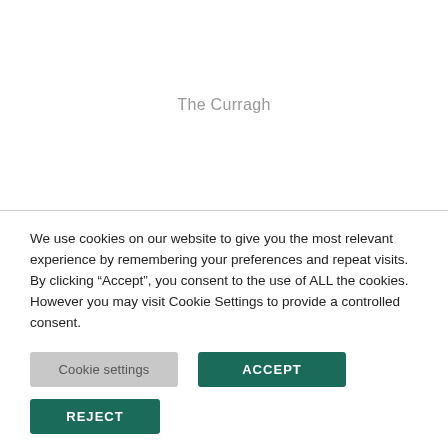The Curragh
We use cookies on our website to give you the most relevant experience by remembering your preferences and repeat visits. By clicking “Accept”, you consent to the use of ALL the cookies. However you may visit Cookie Settings to provide a controlled consent.
Cookie settings
ACCEPT
REJECT